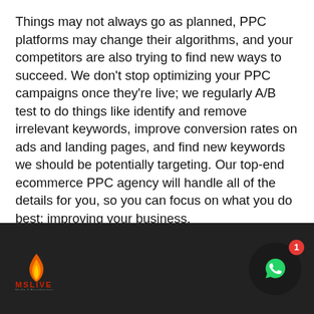Things may not always go as planned, PPC platforms may change their algorithms, and your competitors are also trying to find new ways to succeed. We don't stop optimizing your PPC campaigns once they're live; we regularly A/B test to do things like identify and remove irrelevant keywords, improve conversion rates on ads and landing pages, and find new keywords we should be potentially targeting. Our top-end ecommerce PPC agency will handle all of the details for you, so you can focus on what you do best: improving your business.
[Figure (logo): MSLIVE logo with flame icon in red/orange/yellow, text MSLIVE in red, subtitle text below]
[Figure (other): WhatsApp icon in a dark circle with a red badge showing number 1]